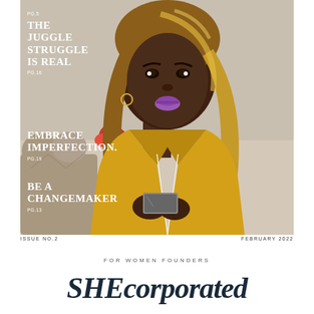[Figure (photo): Magazine cover photo of a Black woman with long golden-blonde hair, wearing a yellow satin blazer with purple lipstick, holding a smartphone, posed against a light interior background with a red rose visible on the left]
PG.5
THE JUGGLE STRUGGLE IS REAL
PG.16
EMBRACE IMPERFECTION.
PG.19
BE A CHANGEMAKER
PG.13
ISSUE NO.2    FEBRUARY 2022
FOR WOMEN FOUNDERS
SHEcorporated